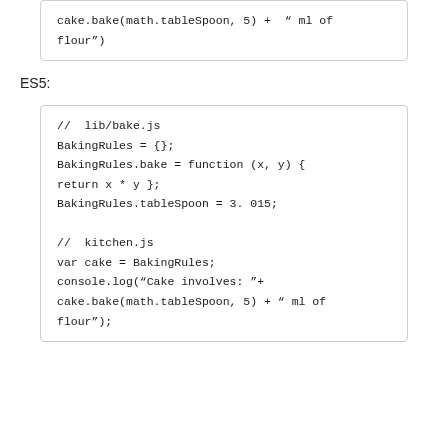cake.bake(math.tableSpoon, 5) +  " ml of flour")
ES5:
//  lib/bake.js
BakingRules = {};
BakingRules.bake = function (x, y) {
return x * y };
BakingRules.tableSpoon = 3. 015;

//  kitchen.js
var cake = BakingRules;
console.log("Cake involves: "+
cake.bake(math.tableSpoon, 5) + " ml of
flour");